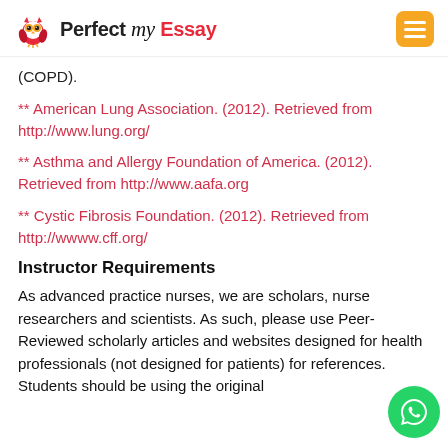Perfect my Essay
(COPD).
** American Lung Association. (2012). Retrieved from http://www.lung.org/
** Asthma and Allergy Foundation of America. (2012). Retrieved from http://www.aafa.org
** Cystic Fibrosis Foundation. (2012). Retrieved from http://wwww.cff.org/
Instructor Requirements
As advanced practice nurses, we are scholars, nurse researchers and scientists. As such, please use Peer-Reviewed scholarly articles and websites designed for health professionals (not designed for patients) for references. Students should be using the original